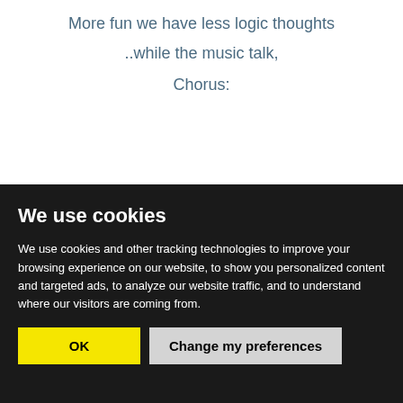More fun we have less logic thoughts
..while the music talk,
Chorus:
We use cookies
We use cookies and other tracking technologies to improve your browsing experience on our website, to show you personalized content and targeted ads, to analyze our website traffic, and to understand where our visitors are coming from.
OK
Change my preferences